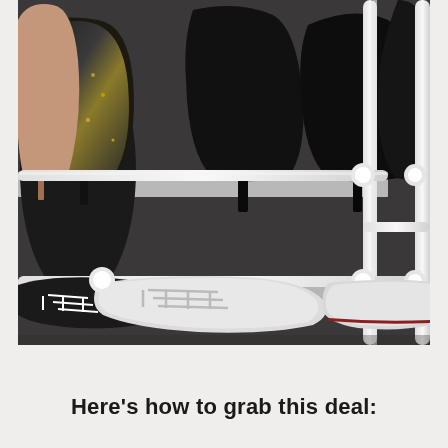[Figure (photo): Close-up photograph of a white metal shoe rack with two visible shelves. The upper shelf holds high-heeled shoes including black stilettos and a glittery black heel. The lower shelf holds white and black sneakers/canvas shoes with laces. The rack has white tubular frame and connectors. Background is the rack shelving material.]
Here's how to grab this deal: